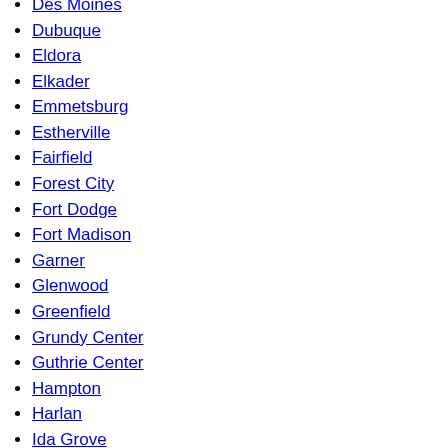Des Moines
Dubuque
Eldora
Elkader
Emmetsburg
Estherville
Fairfield
Forest City
Fort Dodge
Fort Madison
Garner
Glenwood
Greenfield
Grundy Center
Guthrie Center
Hampton
Harlan
Ida Grove
Independence
Indianola
Iowa City
Jefferson
Keokuk
Keosauqua
Knoxville
Le Mars